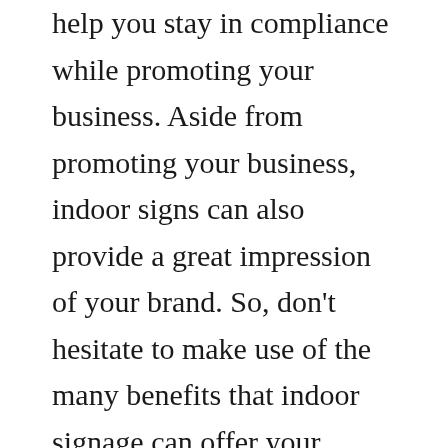help you stay in compliance while promoting your business. Aside from promoting your business, indoor signs can also provide a great impression of your brand. So, don't hesitate to make use of the many benefits that indoor signage can offer your business.

Customized indoor signs help create an impressive first impression for customers. Your signboards can help people find their way through a business, share information, and motivate employees. In addition to